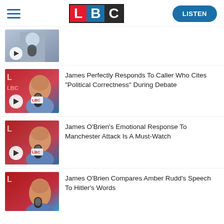[Figure (logo): LBC radio website header with hamburger menu, LBC logo (L in red, B in blue, C in dark/black), and a teal LISTEN button]
[Figure (photo): Video thumbnail of a man in a studio, partially cut off at top]
[Figure (photo): James O'Brien at LBC microphone in studio, blue shirt]
James Perfectly Responds To Caller Who Cites "Political Correctness" During Debate
[Figure (photo): James O'Brien at LBC microphone in studio]
James O'Brien's Emotional Response To Manchester Attack Is A Must-Watch
[Figure (photo): James O'Brien at LBC microphone in studio, partially visible]
James O'Brien Compares Amber Rudd's Speech To Hitler's Words